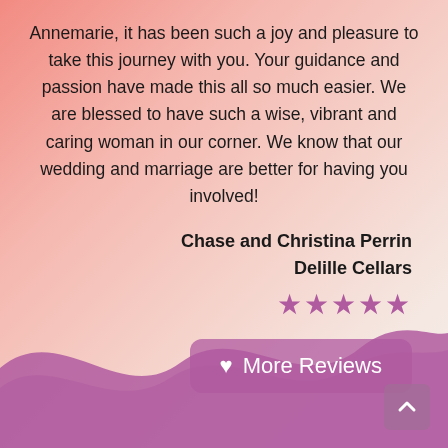Annemarie, it has been such a joy and pleasure to take this journey with you. Your guidance and passion have made this all so much easier. We are blessed to have such a wise, vibrant and caring woman in our corner. We know that our wedding and marriage are better for having you involved!
Chase and Christina Perrin
Delille Cellars
[Figure (other): Five filled star icons in purple/mauve color indicating a 5-star rating]
More Reviews